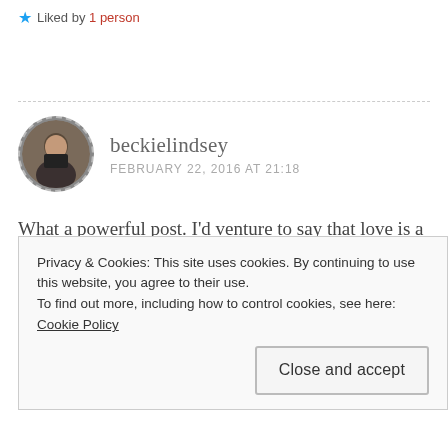★ Liked by 1 person
beckielindsey
FEBRUARY 22, 2016 AT 21:18
What a powerful post. I'd venture to say that love is a choice—especially when emotions are absent. The only
Privacy & Cookies: This site uses cookies. By continuing to use this website, you agree to their use.
To find out more, including how to control cookies, see here: Cookie Policy
Close and accept